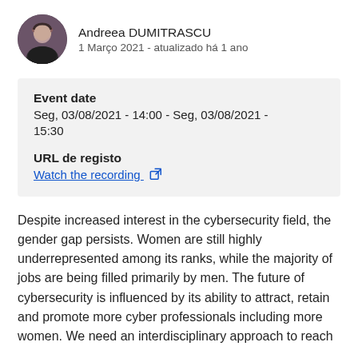Andreea DUMITRASCU
1 Março 2021 - atualizado há 1 ano
| Event date | Seg, 03/08/2021 - 14:00 - Seg, 03/08/2021 - 15:30 |
| URL de registo | Watch the recording |
Despite increased interest in the cybersecurity field, the gender gap persists. Women are still highly underrepresented among its ranks, while the majority of jobs are being filled primarily by men. The future of cybersecurity is influenced by its ability to attract, retain and promote more cyber professionals including more women. We need an interdisciplinary approach to reach